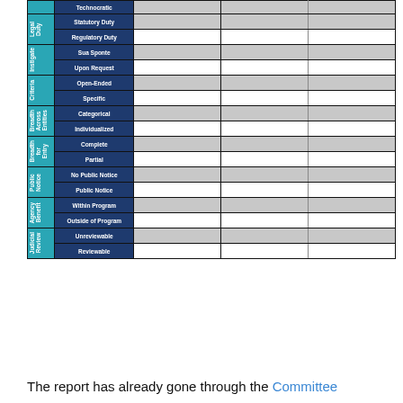| Category | Sub-category | Col1 | Col2 | Col3 |
| --- | --- | --- | --- | --- |
|  | Technocratic |  |  |  |
| Legal Duty | Statutory Duty |  |  |  |
| Legal Duty | Regulatory Duty |  |  |  |
| Instigate | Sua Sponte |  |  |  |
| Instigate | Upon Request |  |  |  |
| Criteria | Open-Ended |  |  |  |
| Criteria | Specific |  |  |  |
| Breadth Across Entities | Categorical |  |  |  |
| Breadth Across Entities | Individualized |  |  |  |
| Breadth for Entry | Complete |  |  |  |
| Breadth for Entry | Partial |  |  |  |
| Public Notice | No Public Notice |  |  |  |
| Public Notice | Public Notice |  |  |  |
| Agency Benefit | Within Program |  |  |  |
| Agency Benefit | Outside of Program |  |  |  |
| Judicial Review | Unreviewable |  |  |  |
| Judicial Review | Reviewable |  |  |  |
The report has already gone through the Committee